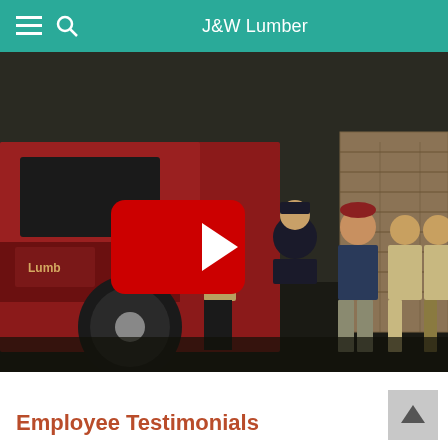J&W Lumber
[Figure (screenshot): Video thumbnail showing J&W Lumber employees and a red lumber truck in the background with a YouTube play button overlay in the center.]
Employee Testimonials